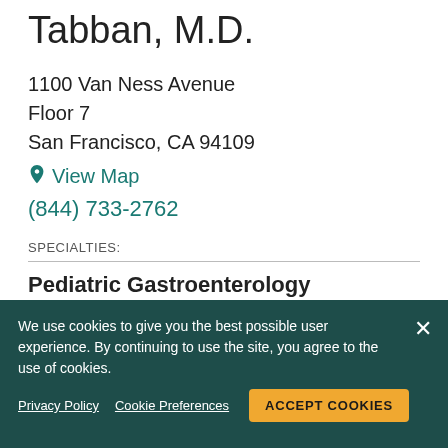Tabban, M.D.
1100 Van Ness Avenue
Floor 7
San Francisco, CA 94109
View Map
(844) 733-2762
SPECIALTIES:
Pediatric Gastroenterology
New patients, please call for availability
We use cookies to give you the best possible user experience. By continuing to use the site, you agree to the use of cookies.
Privacy Policy   Cookie Preferences   ACCEPT COOKIES